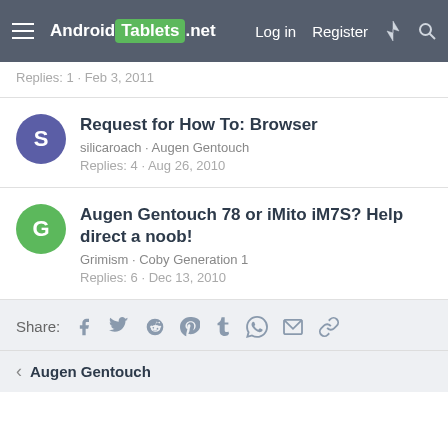Android Tablets .net  Log in  Register
Replies: 1 · Feb 3, 2011
Request for How To: Browser
silicaroach · Augen Gentouch
Replies: 4 · Aug 26, 2010
Augen Gentouch 78 or iMito iM7S? Help direct a noob!
Grimism · Coby Generation 1
Replies: 6 · Dec 13, 2010
Share:
< Augen Gentouch